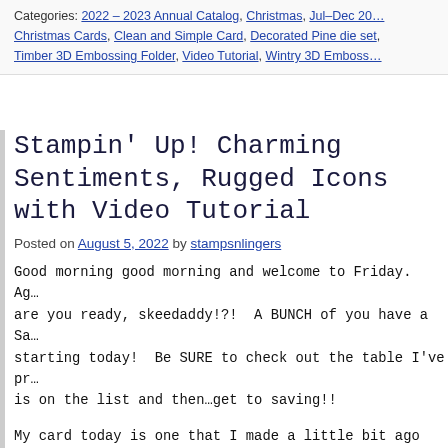Categories: 2022 – 2023 Annual Catalog, Christmas, Jul–Dec 2022, Christmas Cards, Clean and Simple Card, Decorated Pine die set, Timber 3D Embossing Folder, Video Tutorial, Wintry 3D Embossing Folder
Stampin' Up! Charming Sentiments, Rugged Icons with Video Tutorial
Posted on August 5, 2022 by stampsnlingers
Good morning good morning and welcome to Friday.  Ag… are you ready, skeedaddy!?!  A BUNCH of you have a Sale-a-Bration starting today!  Be SURE to check out the table I've pr… is on the list and then…get to saving!!
My card today is one that I made a little bit ago for … back so that she wouldn't see it.  But – she's been eat… banana bread I sent, so…the cat is out of the bag! Thi… and the coordinating Ringed with Nature stamp set, the… two a la carte goodies – the Rugged Icons Dies and Tw… and Die.  Take a look-see: